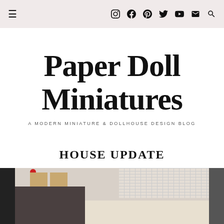☰ [Instagram] [Facebook] [Pinterest] [Twitter] [YouTube] [Email] [Search]
Paper Doll Miniatures
A MODERN MINIATURE & DOLLHOUSE DESIGN BLOG
HOUSE UPDATE
29 OCT 2017
[Figure (photo): A miniature dollhouse room scene showing dark cabinetry, small cardboard boxes on top, a white brick wall, and what appears to be a kitchen or living room interior in miniature scale.]